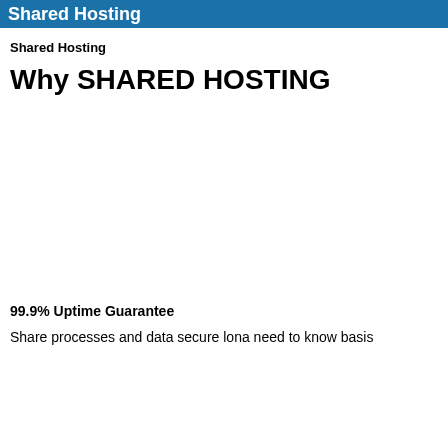Shared Hosting
Shared Hosting
Why SHARED HOSTING
99.9% Uptime Guarantee
Share processes and data secure lona need to know basis